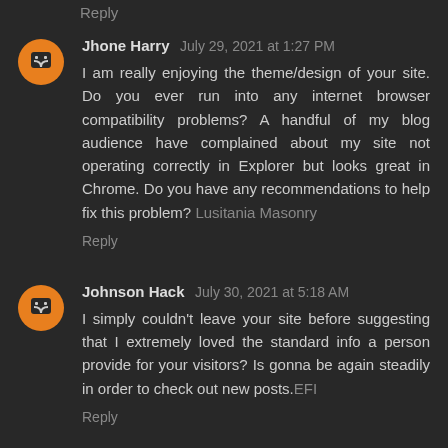Reply
Jhone Harry  July 29, 2021 at 1:27 PM
I am really enjoying the theme/design of your site. Do you ever run into any internet browser compatibility problems? A handful of my blog audience have complained about my site not operating correctly in Explorer but looks great in Chrome. Do you have any recommendations to help fix this problem? Lusitania Masonry
Reply
Johnson Hack  July 30, 2021 at 5:18 AM
I simply couldn't leave your site before suggesting that I extremely loved the standard info a person provide for your visitors? Is gonna be again steadily in order to check out new posts.EFI
Reply